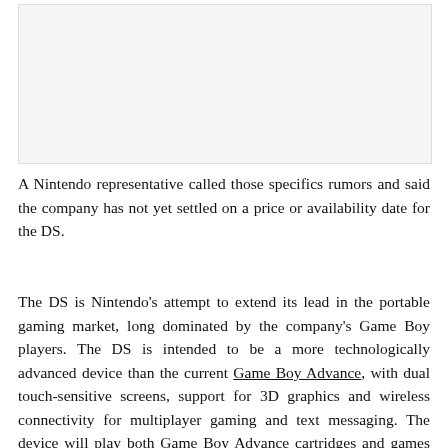[Figure (other): Blank/empty image placeholder area with light gray background]
A Nintendo representative called those specifics rumors and said the company has not yet settled on a price or availability date for the DS.
The DS is Nintendo's attempt to extend its lead in the portable gaming market, long dominated by the company's Game Boy players. The DS is intended to be a more technologically advanced device than the current Game Boy Advance, with dual touch-sensitive screens, support for 3D graphics and wireless connectivity for multiplayer gaming and text messaging. The device will play both Game Boy Advance cartridges and games developed specifically